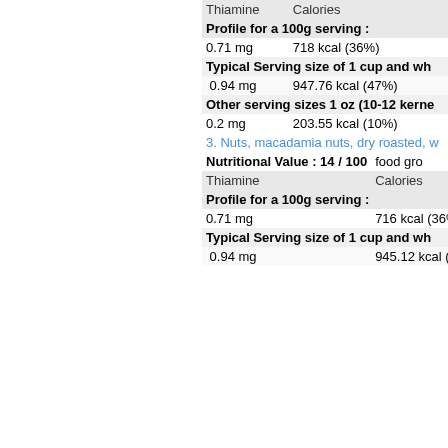| Thiamine | Calories |
| --- | --- |
| Profile for a 100g serving : |
| 0.71 mg | 718 kcal (36%) |
| Typical Serving size of 1 cup and wh... |
| 0.94 mg | 947.76 kcal (47%) |
| Other serving sizes 1 oz (10-12 kerne... |
| 0.2 mg | 203.55 kcal (10%) |
3. Nuts, macadamia nuts, dry roasted, w...
| Thiamine | Calories |
| --- | --- |
| Nutritional Value : 14 / 100 | food gro... |
| Profile for a 100g serving : |
| 0.71 mg | 716 kcal (36%) |
| Typical Serving size of 1 cup and wh... |
| 0.94 mg | 945.12 kcal (47%) |
thiamine and Nutritional Values -
Vegetables
leeks, turnip greens, swiss chard, mustard..., green beans, brussel sprouts, cabbage, s..., spinach, shiitake mushrooms, celery, sal...